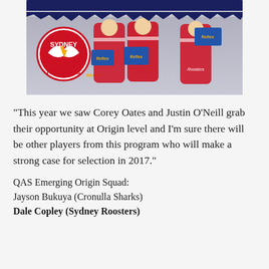[Figure (photo): Three Sydney Roosters rugby league players in red, white, and blue jerseys holding Reflex paper boxes, with the Sydney Roosters logo visible on the left side of the image.]
"This year we saw Corey Oates and Justin O'Neill grab their opportunity at Origin level and I'm sure there will be other players from this program who will make a strong case for selection in 2017."
QAS Emerging Origin Squad:
Jayson Bukuya (Cronulla Sharks)
Dale Copley (Sydney Roosters)